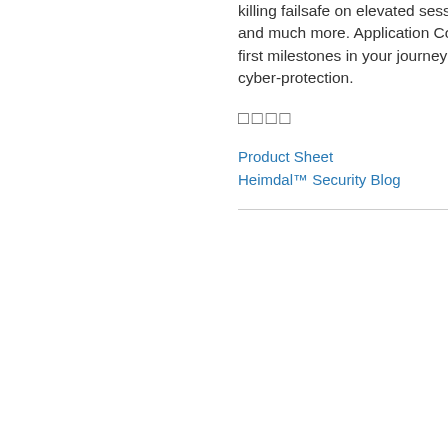killing failsafe on elevated session termination, and much more. Application Control is one of the first milestones in your journey to 360-degree cyber-protection.
□□□□
Product Sheet
Heimdal™ Security Blog